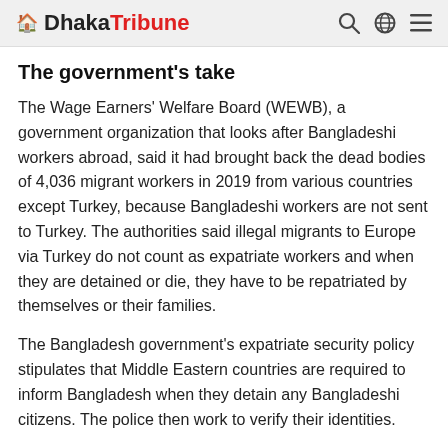Dhaka Tribune
The government's take
The Wage Earners' Welfare Board (WEWB), a government organization that looks after Bangladeshi workers abroad, said it had brought back the dead bodies of 4,036 migrant workers in 2019 from various countries except Turkey, because Bangladeshi workers are not sent to Turkey. The authorities said illegal migrants to Europe via Turkey do not count as expatriate workers and when they are detained or die, they have to be repatriated by themselves or their families.
The Bangladesh government's expatriate security policy stipulates that Middle Eastern countries are required to inform Bangladesh when they detain any Bangladeshi citizens. The police then work to verify their identities.
Sohel Rana, assistant inspector general (Media) of Bangladesh Police, said the first thing the illegals do